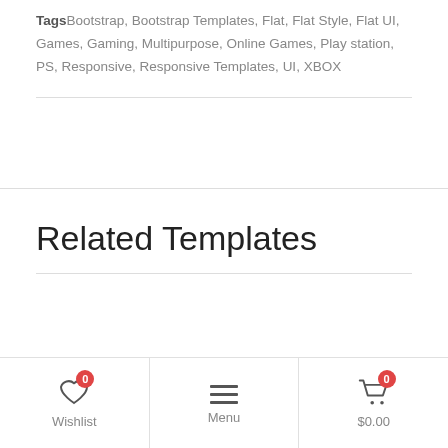Tags Bootstrap, Bootstrap Templates, Flat, Flat Style, Flat UI, Games, Gaming, Multipurpose, Online Games, Play station, PS, Responsive, Responsive Templates, UI, XBOX
Related Templates
[Figure (other): Bottom navigation bar with Wishlist (heart icon, badge 0), Menu (hamburger icon), and Cart (cart icon, badge 0, $0.00)]